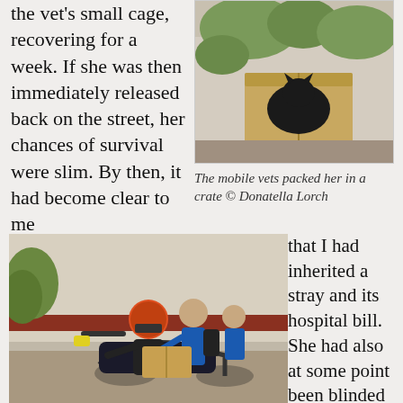the vet's small cage, recovering for a week. If she was then immediately released back on the street, her chances of survival were slim. By then, it had become clear to me
[Figure (photo): A black cat inside a cardboard box outdoors, surrounded by green foliage]
The mobile vets packed her in a crate © Donatella Lorch
[Figure (photo): Two people on a motorcycle, one wearing a helmet, handling a cardboard box, outdoors]
that I had inherited a stray and its hospital bill. She had also at some point been blinded by a stick or